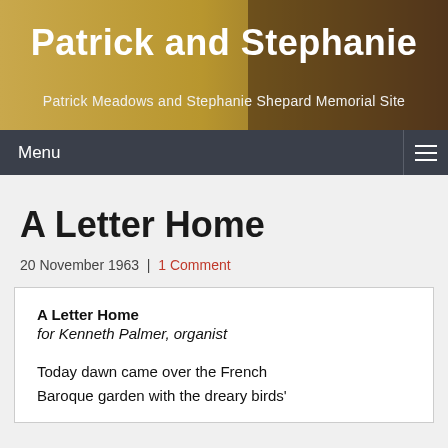Patrick and Stephanie
Patrick Meadows and Stephanie Shepard Memorial Site
Menu
A Letter Home
20 November 1963 | 1 Comment
A Letter Home
for Kenneth Palmer, organist
Today dawn came over the French Baroque garden with the dreary birds'